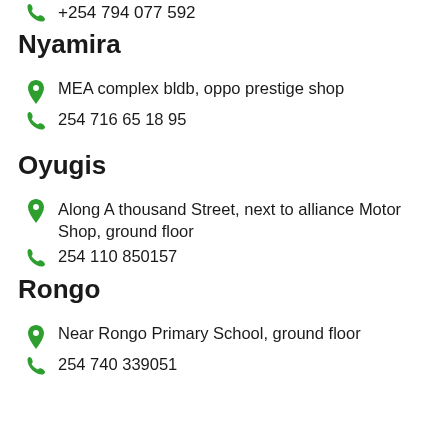+254 794 077 592
Nyamira
MEA complex bldb, oppo prestige shop
254 716 65 18 95
Oyugis
Along A thousand Street, next to alliance Motor Shop, ground floor
254 110 850157
Rongo
Near Rongo Primary School, ground floor
254 740 339051